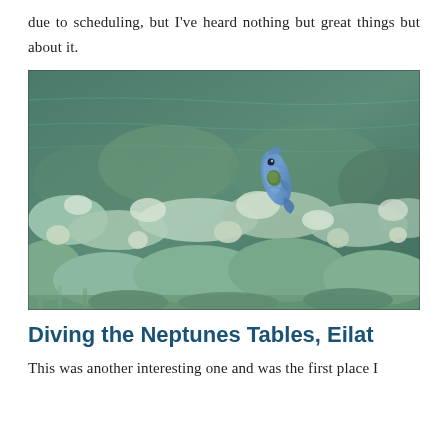due to scheduling, but I've heard nothing but great things but about it.
[Figure (photo): Underwater photograph of a coral reef with a blue fish (angelfish or similar) hovering above the coral. The coral is pale green and white, and the fish is bright blue with a greenish spot on its side.]
Diving the Neptunes Tables, Eilat
This was another interesting one and was the first place I